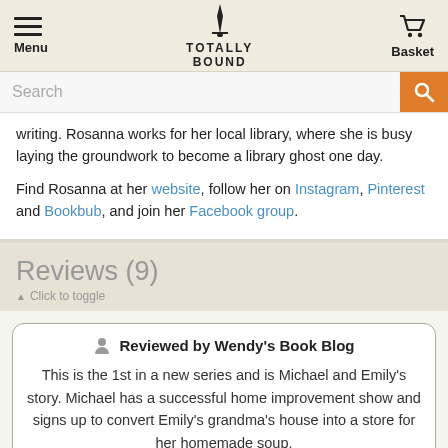Menu | TOTALLY BOUND | Basket
writing. Rosanna works for her local library, where she is busy laying the groundwork to become a library ghost one day.
Find Rosanna at her website, follow her on Instagram, Pinterest and Bookbub, and join her Facebook group.
Reviews (9)
▲ Click to toggle
Reviewed by Wendy's Book Blog
This is the 1st in a new series and is Michael and Emily's story. Michael has a successful home improvement show and signs up to convert Emily's grandma's house into a store for her homemade soup.